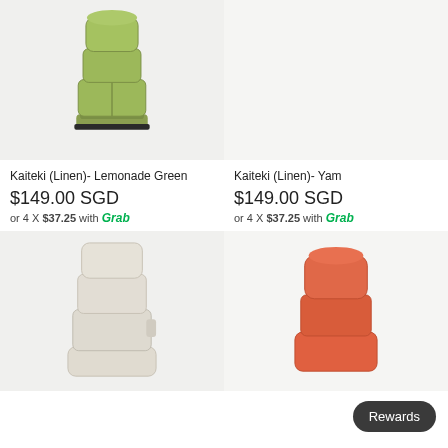[Figure (photo): Green linen Kaiteki floor chair (Lemonade Green) on light background]
[Figure (photo): Yam colored Kaiteki (Linen) floor chair - top portion cut off, mostly white background]
Kaiteki (Linen)- Lemonade Green
$149.00 SGD
or 4 X $37.25 with Grab
Kaiteki (Linen)- Yam
$149.00 SGD
or 4 X $37.25 with Grab
[Figure (photo): Cream/beige Kaiteki linen floor chair fully reclined on light background]
[Figure (photo): Orange/terracotta Kaiteki linen floor chair partially reclined on light background]